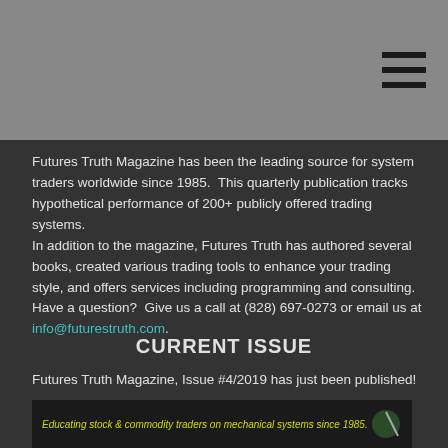Futures Truth Magazine has been the leading source for system traders worldwide since 1985.  This quarterly publication tracks hypothetical performance of 200+ publicly offered trading systems.
In addition to the magazine, Futures Truth has authored several books, created various trading tools to enhance your trading style, and offers services including programming and consulting.  Have a question?  Give us a call at (828) 697-0273 or email us at info@futurestruth.com.
CURRENT ISSUE
Futures Truth Magazine, Issue #4/2019 has just been published!
[Figure (photo): Bottom strip showing magazine cover with text 'Educating stock & commodity traders on mechanical systems since 1985.' with a small image on the right]